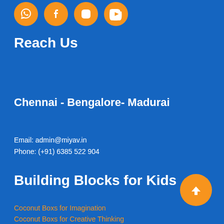[Figure (illustration): Four orange circular social media icon buttons (WhatsApp, Facebook, Instagram, YouTube) partially visible at the top of the page]
Reach Us
Chennai - Bengalore- Madurai
Email: admin@miyav.in
Phone: (+91) 6385 522 904
Building Blocks for Kids
Coconut Boxs for Imagination
Coconut Boxs for Creative Thinking